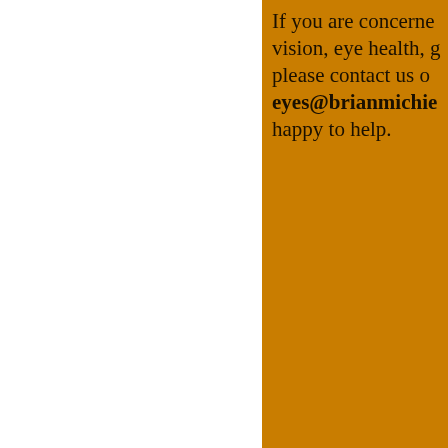If you are concerned about your vision, eye health, glasses or contact lenses, please contact us on eyes@brianmichie... we are happy to help.